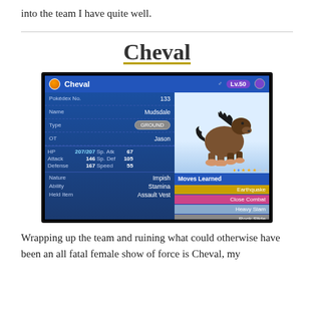into the team I have quite well.
Cheval
[Figure (screenshot): Nintendo 3DS Pokemon game screenshot showing Cheval the Mudsdale (Pokedex No. 133), Level 50, Type: Ground, OT: Jason, HP: 207/207, Sp. Atk: 67, Attack: 146, Sp. Def: 105, Defense: 167, Speed: 55, Nature: Impish, Ability: Stamina, Held Item: Assault Vest. Moves Learned: Earthquake, Close Combat, Heavy Slam, Rock Slide.]
Wrapping up the team and ruining what could otherwise have been an all fatal female show of force is Cheval, my